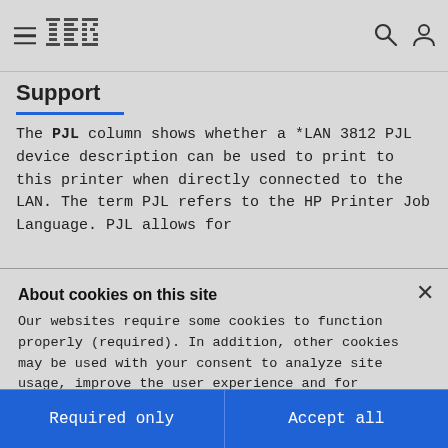IBM navigation header with hamburger menu, IBM logo, search icon, and user icon
Support
The PJL column shows whether a *LAN 3812 PJL device description can be used to print to this printer when directly connected to the LAN. The term PJL refers to the HP Printer Job Language. PJL allows for
About cookies on this site
Our websites require some cookies to function properly (required). In addition, other cookies may be used with your consent to analyze site usage, improve the user experience and for advertising.

For more information, please review your Cookie preferences options and IBM's privacy statement.
Required only
Accept all